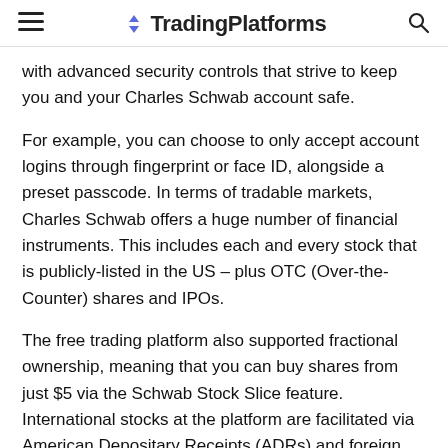TradingPlatforms
with advanced security controls that strive to keep you and your Charles Schwab account safe.
For example, you can choose to only accept account logins through fingerprint or face ID, alongside a preset passcode. In terms of tradable markets, Charles Schwab offers a huge number of financial instruments. This includes each and every stock that is publicly-listed in the US – plus OTC (Over-the-Counter) shares and IPOs.
The free trading platform also supported fractional ownership, meaning that you can buy shares from just $5 via the Schwab Stock Slice feature. International stocks at the platform are facilitated via American Depositary Receipts (ADRs) and foreign ordinaries. Outside of the stock department, this top-rated trading platform also allows you to invest in ETFs, index funds, mutual funds,